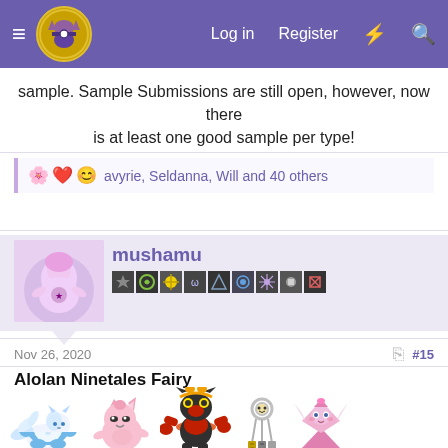Forum header with logo, Log in, Register, and search icons
sample. Sample Submissions are still open, however, now there is at least one good sample per type!
avyrie, Seldanna, Will and 40 others
mushamu
Nov 26, 2020   #15
Alolan Ninetales Fairy
[Figure (illustration): Pokemon sprites: Alolan Ninetales, Clefable, Incineroar, Klefki, Mega Diancie, and Azumarill]